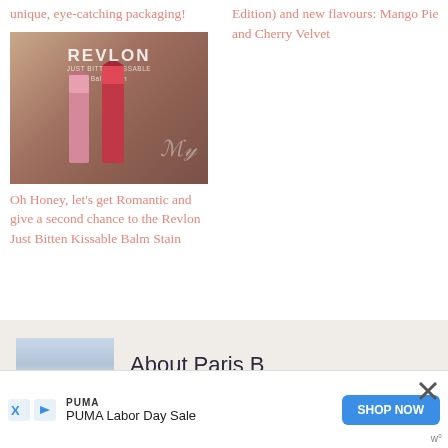unique, eye-catching packaging!
Edition) and new flavours: Mango Pie and Cherry Velvet
[Figure (photo): Two Revlon Just Bitten Kissable Balm Stain lip products (one pink, one red) standing upright against a warm brown background with REVLON branding visible]
Oh Honey, let’s get Romantic and give a second chance to the Revlon Just Bitten Kissable Balm Stain
About Paris B
[Figure (photo): Partial photo of a person (Paris B) with dark hair against a light background]
PUMA PUMA Labor Day Sale SHOP NOW